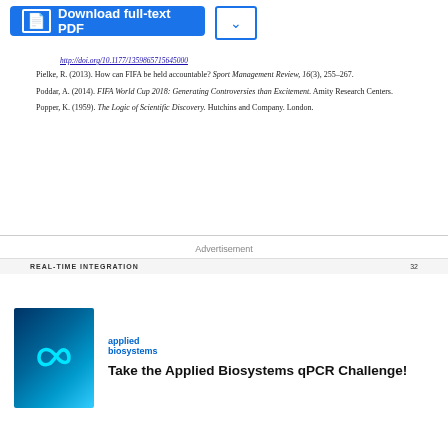[Figure (screenshot): Download full-text PDF button (blue) with dropdown arrow button]
http://doi.org/10.1177/1359865715645000
Pielke, R. (2013). How can FIFA be held accountable? Sport Management Review, 16(3), 255–267.
Poddar, A. (2014). FIFA World Cup 2018: Generating Controversies than Excitement. Amity Research Centers.
Popper, K. (1959). The Logic of Scientific Discovery. Hutchins and Company. London.
REAL-TIME INTEGRATION   32
Advertisement
[Figure (illustration): Applied Biosystems advertisement with infinity symbol logo on blue background and text 'Take the Applied Biosystems qPCR Challenge!']